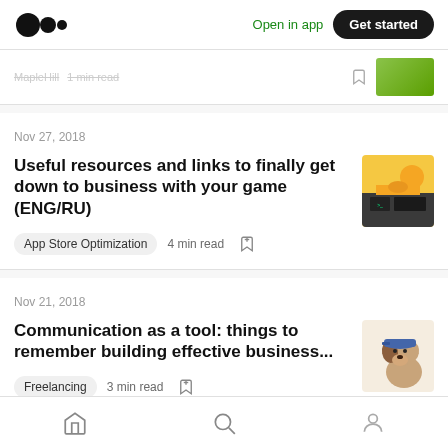Open in app  Get started
MapleHill  1 min read
Nov 27, 2018
Useful resources and links to finally get down to business with your game (ENG/RU)
App Store Optimization  4 min read
Nov 21, 2018
Communication as a tool: things to remember building effective business...
Freelancing  3 min read